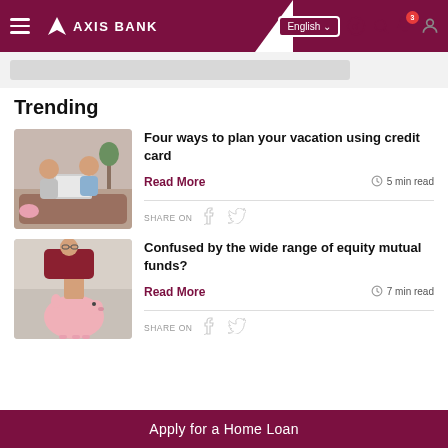AXIS BANK — Navigation bar with hamburger menu, logo, language selector (English), WhatsApp, Search, Bell (3 notifications), Profile icons
[Figure (screenshot): Search bar area with grey background]
Trending
[Figure (photo): Couple sitting on couch with laptop and credit card]
Four ways to plan your vacation using credit card
Read More
5 min read
SHARE ON
[Figure (photo): Man inserting money into pink piggy bank]
Confused by the wide range of equity mutual funds?
Read More
7 min read
SHARE ON
Apply for a Home Loan